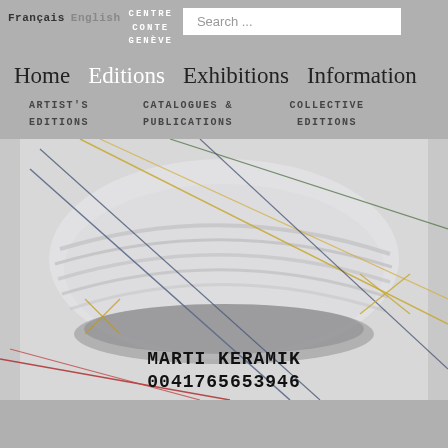Français  English  CENTRE CONTE GENÈVE  Search ...
Home  Editions  Exhibitions  Information
ARTIST'S EDITIONS  CATALOGUES & PUBLICATIONS  COLLECTIVE EDITIONS
[Figure (illustration): Artwork showing a ceramic vessel wrapped in coiled white clay with colorful crossing lines (blue, gold, red, green) against a white background. Text overlay reads: MARTI KERAMIK 0041765653946]
MARTI KERAMIK 0041765653946